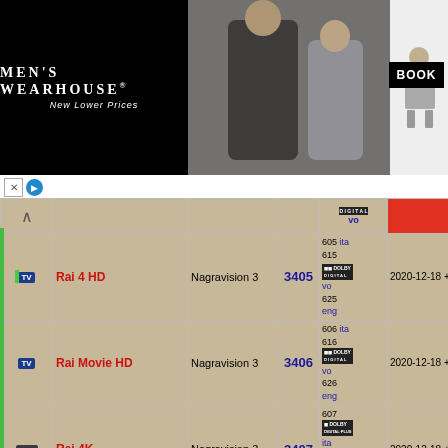[Figure (photo): Men's Wearhouse advertisement banner with couple in formal wear and boy in suit, with BOOK button]
| Icon | Channel Name | Encryption | SID | Audio | Date |
| --- | --- | --- | --- | --- | --- |
| TV | Rai 4 HD | Nagravision 3 | 3405 | 605 ita
615
[Dolby Digital] vo
625 eng | 2020-12-18 + |
| TV | Rai Movie HD | Nagravision 3 | 3406 | 606 ita
616
[Dolby Digital] vo
626 eng | 2020-12-18 + |
| ZAP | Rai 4K | Nagravision 3 | 3407 | 607
[Dolby Digital Plus] ita
617
[Dolby Digital Plus] eng | 2020-12-18 + |
| radio | Rai Radio 1 | En abierto | 3441 | 641 ita | 2020-11-06 |
| radio | Rai Radio 2 | En abierto | 3442 | 642 ita | 2020-11-06 |
| radio | Rai Radio 3 | En abierto | 3443 | 643 ita | 2020-11-06 |
| radio | Rai Radio3 Classica | En abierto | 3444 | 644 ita | 2020-11-06 |
| radio | Rai GR Parlamento | En abierto | 3445 | 645 ita | 2020-11-06 |